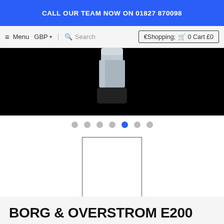CALL OUR TEAM NOW ON 01827 870098
≡ Menu   GBP ▾   🔍 Search   🛒 0 Cart £0
[Figure (photo): Partial product image of a cylindrical device (likely a stamp or seal) on a black background]
[Figure (other): Seven dot/carousel indicators, with the 5th dot highlighted in blue indicating the active slide]
[Figure (other): A blank white thumbnail image with a dark border — a product image placeholder]
BORG & OVERSTROM E200